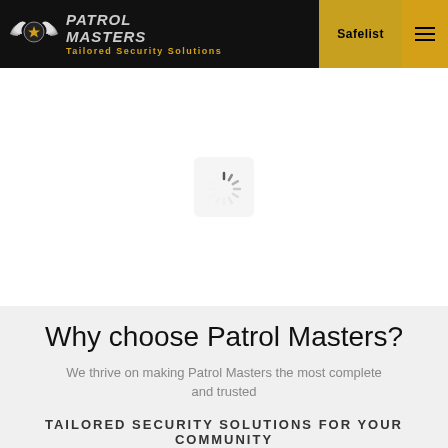Patrol Masters — Tailored Security Solutions | Safelist
[Figure (screenshot): Loading spinner icon in a light grey rounded box, centered on a white background area]
Why choose Patrol Masters?
We thrive on making Patrol Masters the most complete and trusted
TAILORED SECURITY SOLUTIONS for your community